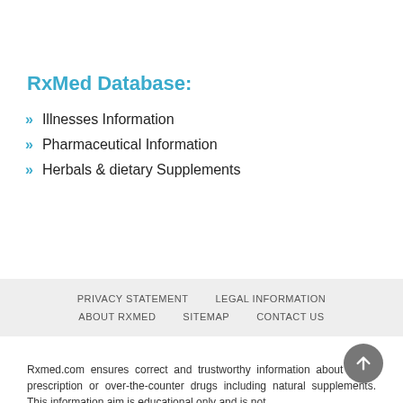RxMed Database:
Illnesses Information
Pharmaceutical Information
Herbals & dietary Supplements
PRIVACY STATEMENT   LEGAL INFORMATION   ABOUT RXMED   SITEMAP   CONTACT US
Rxmed.com ensures correct and trustworthy information about either prescription or over-the-counter drugs including natural supplements. This information aim is educational only and is not